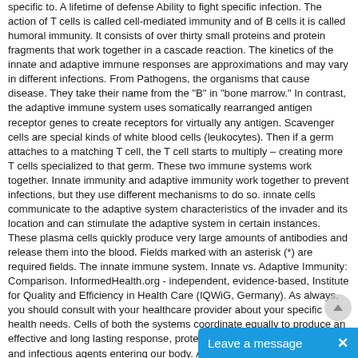specific to. A lifetime of defense Ability to fight specific infection. The action of T cells is called cell-mediated immunity and of B cells it is called humoral immunity. It consists of over thirty small proteins and protein fragments that work together in a cascade reaction. The kinetics of the innate and adaptive immune responses are approximations and may vary in different infections. From Pathogens, the organisms that cause disease. They take their name from the "B" in "bone marrow." In contrast, the adaptive immune system uses somatically rearranged antigen receptor genes to create receptors for virtually any antigen. Scavenger cells are special kinds of white blood cells (leukocytes). Then if a germ attaches to a matching T cell, the T cell starts to multiply – creating more T cells specialized to that germ. These two immune systems work together. Innate immunity and adaptive immunity work together to prevent infections, but they use different mechanisms to do so. innate cells communicate to the adaptive system characteristics of the invader and its location and can stimulate the adaptive system in certain instances. These plasma cells quickly produce very large amounts of antibodies and release them into the blood. Fields marked with an asterisk (*) are required fields. The innate immune system. Innate vs. Adaptive Immunity: Comparison. InformedHealth.org - independent, evidence-based, Institute for Quality and Efficiency in Health Care (IQWiG, Germany). As always, you should consult with your healthcare provider about your specific health needs. Cells of both the systems coordinate equally to produce an effective and long lasting response, protecting any harmful pathogens and infectious agents entering our body. Adaptive immunity. The acquired immune system is one of the two main immunity strategies found in vertebrates (the other being the innate immune system). Allergies occur when your immune system mistakes harmless substances for threats and attacks these harmless substances. 00:00:16.06 that we've already discussed, innate immunity and adaptive immunity. What are the characteris... by a Innate immunity and adaptive immunity...